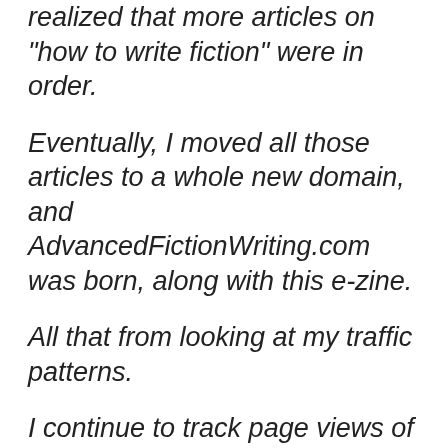realized that more articles on "how to write fiction" were in order.
Eventually, I moved all those articles to a whole new domain, and AdvancedFictionWriting.com was born, along with this e-zine.
All that from looking at my traffic patterns.
I continue to track page views of the Snowflake page. Last year it had a record number of views,